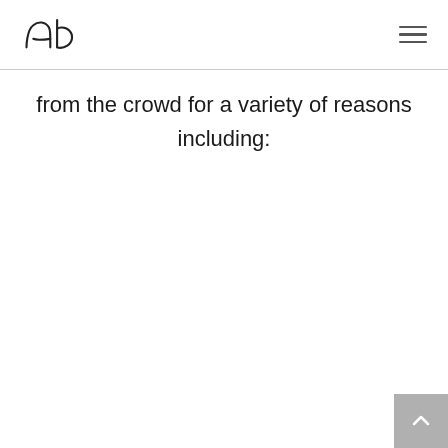ab logo and hamburger menu
from the crowd for a variety of reasons including: